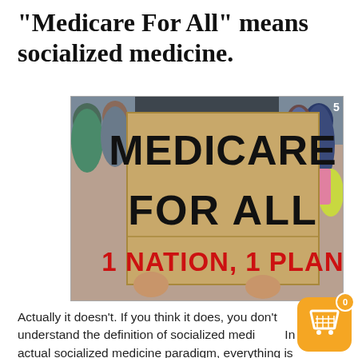“Medicare For All” means socialized medicine.
[Figure (photo): Protest photo showing a crowd of people with a person holding a large cardboard sign reading 'MEDICARE FOR ALL' in large black letters and '1 NATION, 1 PLAN' in large red letters at the bottom.]
Actually it doesn’t. If you think it does, you don’t understand the definition of socialized medi... In an actual socialized medicine paradigm, everything is owned and/or paid for directly by the